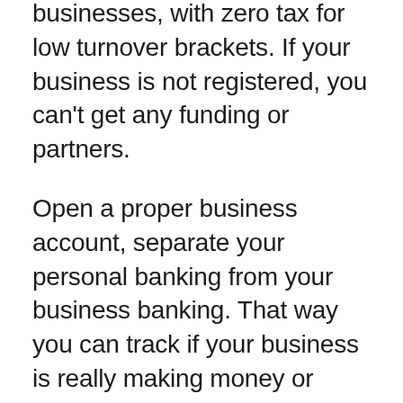businesses, with zero tax for low turnover brackets. If your business is not registered, you can't get any funding or partners.
Open a proper business account, separate your personal banking from your business banking. That way you can track if your business is really making money or losing. If you need money from the business, pay yourself a salary. Don't be a blesser with a business account, one day when you need to be audited, it will be very hard to explain why you bought icetropez or moet with the business account.
Take yourself seriously too, call yourself by the designated title. You're a CEO, stop playing small.